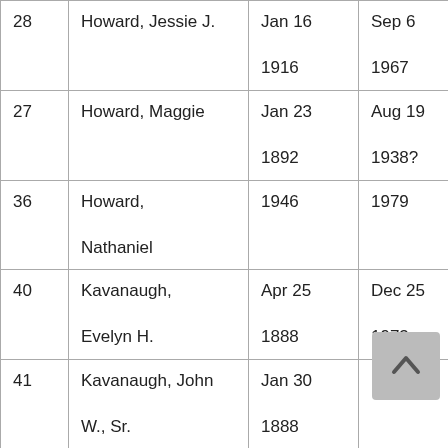| 28 | Howard, Jessie J. | Jan 16
1916 | Sep 6
1967 |
| 27 | Howard, Maggie | Jan 23
1892 | Aug 19
1938? |
| 36 | Howard,
Nathaniel | 1946 | 1979 |
| 40 | Kavanaugh,
Evelyn H. | Apr 25
1888 | Dec 25
1973 |
| 41 | Kavanaugh, John
W., Sr. | Jan 30
1888 |  |
| 4 | Kinchion, Anne
Minorva | Jul 19
1876 | Aug 19
1927 |